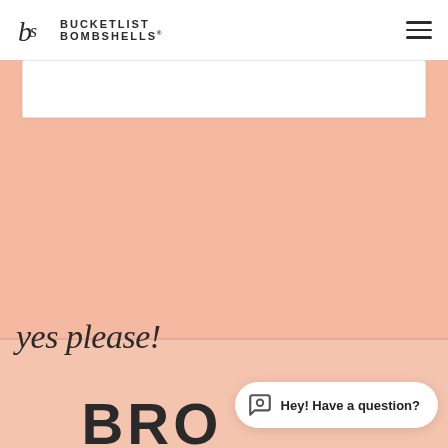Bucketlist Bombshells
[Figure (illustration): White rectangle card/banner area below header on peach background]
[Figure (illustration): Peach/salmon colored background section]
yes please!
BRO[WSE]
Hey! Have a question?